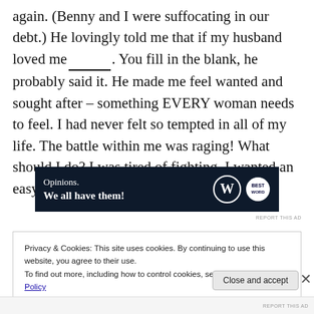again. (Benny and I were suffocating in our debt.) He lovingly told me that if my husband loved me_______. You fill in the blank, he probably said it. He made me feel wanted and sought after – something EVERY woman needs to feel. I had never felt so tempted in all of my life. The battle within me was raging! What should I do? I was tired of fighting. I wanted an easy life.
[Figure (other): Dark navy advertisement banner reading 'Opinions. We all have them!' with WordPress logo and another circular logo on the right side.]
REPORT THIS AD
Privacy & Cookies: This site uses cookies. By continuing to use this website, you agree to their use.
To find out more, including how to control cookies, see here: Cookie Policy
Close and accept